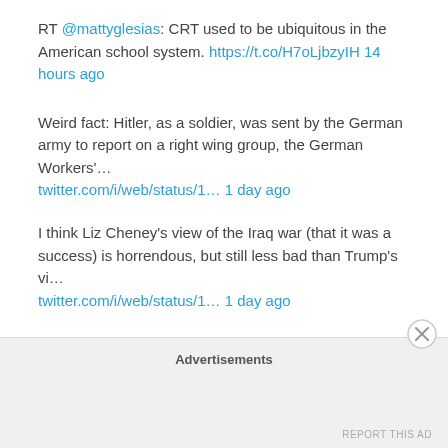RT @mattyglesias: CRT used to be ubiquitous in the American school system. https://t.co/H7oLjbzyIH 14 hours ago
Weird fact: Hitler, as a soldier, was sent by the German army to report on a right wing group, the German Workers'… twitter.com/i/web/status/1… 1 day ago
I think Liz Cheney's view of the Iraq war (that it was a success) is horrendous, but still less bad than Trump's vi… twitter.com/i/web/status/1… 1 day ago
With exception of prawns and a select few other insects in a few very specific cultures, nobody wants to eat bugs. twitter.com/stanvowales/st… 2 days ago
Follow @aziz0nomics
Advertisements